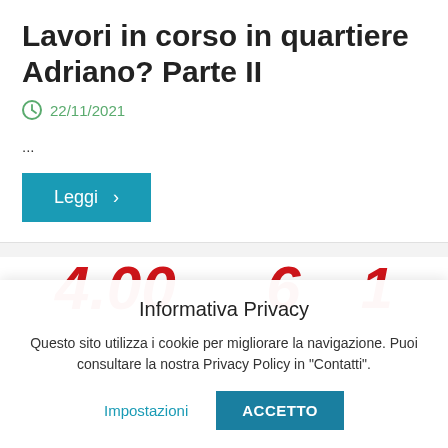Lavori in corso in quartiere Adriano? Parte II
22/11/2021
...
Leggi ›
[Figure (other): Partially visible red bold italic numbers/text, cropped at bottom of content area]
Informativa Privacy
Questo sito utilizza i cookie per migliorare la navigazione. Puoi consultare la nostra Privacy Policy in "Contatti".
Impostazioni   ACCETTO